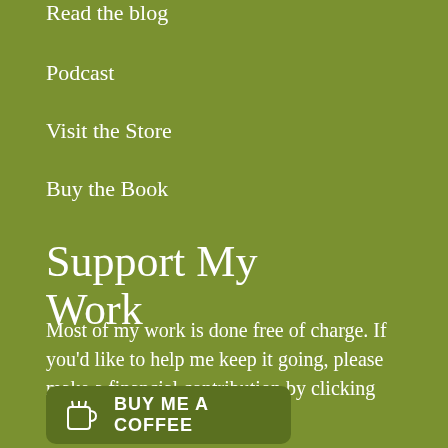Read the blog
Podcast
Visit the Store
Buy the Book
Support My Work
Most of my work is done free of charge. If you'd like to help me keep it going, please make a financial contribution by clicking the button above.
[Figure (other): Buy Me a Coffee button with coffee cup icon]